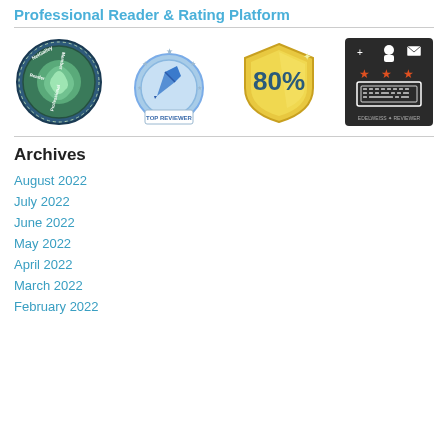Professional Reader / NetGalley Member / Top Reviewer / 80% / Edelweiss Reviewer
[Figure (illustration): Four review badges: NetGalley Professional Reader badge (circular dark blue/green), Top Reviewer badge (circular light blue with stars), 80% shield badge (gold), Edelweiss Reviewer badge (dark rectangle with stars and keyboard)]
Archives
August 2022
July 2022
June 2022
May 2022
April 2022
March 2022
February 2022